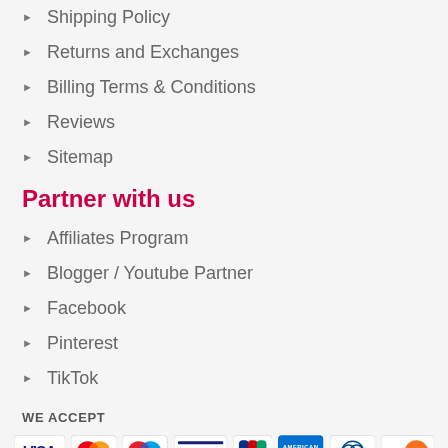Shipping Policy
Returns and Exchanges
Billing Terms & Conditions
Reviews
Sitemap
Partner with us
Affiliates Program
Blogger / Youtube Partner
Facebook
Pinterest
TikTok
WE ACCEPT
[Figure (illustration): Payment method icons: VISA, Mastercard, Maestro, VISA Electron, JCB, American Express, Diners Club, Discover]